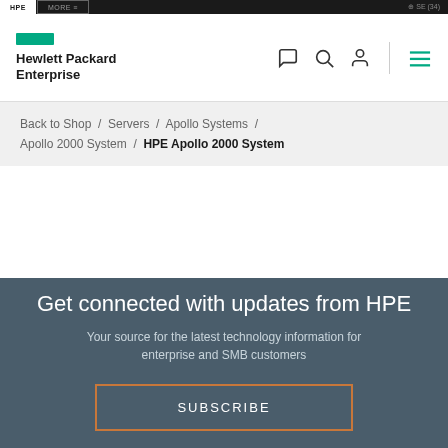HPE | MORE
[Figure (logo): Hewlett Packard Enterprise logo with green rectangle and bold text]
Back to Shop / Servers / Apollo Systems / Apollo 2000 System / HPE Apollo 2000 System
Get connected with updates from HPE
Your source for the latest technology information for enterprise and SMB customers
SUBSCRIBE